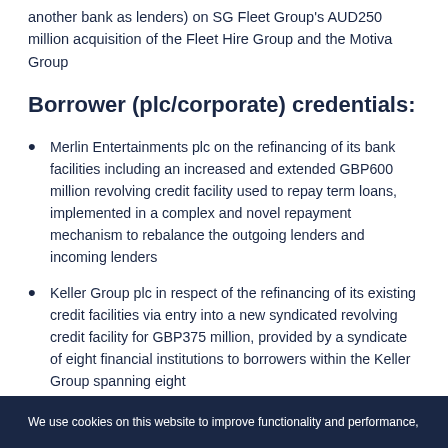another bank as lenders) on SG Fleet Group's AUD250 million acquisition of the Fleet Hire Group and the Motiva Group
Borrower (plc/corporate) credentials:
Merlin Entertainments plc on the refinancing of its bank facilities including an increased and extended GBP600 million revolving credit facility used to repay term loans, implemented in a complex and novel repayment mechanism to rebalance the outgoing lenders and incoming lenders
Keller Group plc in respect of the refinancing of its existing credit facilities via entry into a new syndicated revolving credit facility for GBP375 million, provided by a syndicate of eight financial institutions to borrowers within the Keller Group spanning eight
We use cookies on this website to improve functionality and performance,